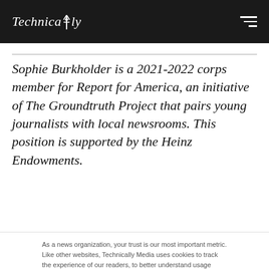Technically
Sophie Burkholder is a 2021-2022 corps member for Report for America, an initiative of The Groundtruth Project that pairs young journalists with local newsrooms. This position is supported by the Heinz Endowments.
As a news organization, your trust is our most important metric. Like other websites, Technically Media uses cookies to track the experience of our readers, to better understand usage patterns and content preferences. We will not sell or rent your personal information to third parties. For more information or to contact us, read our entire Ethics & Privacy Policy.
Close